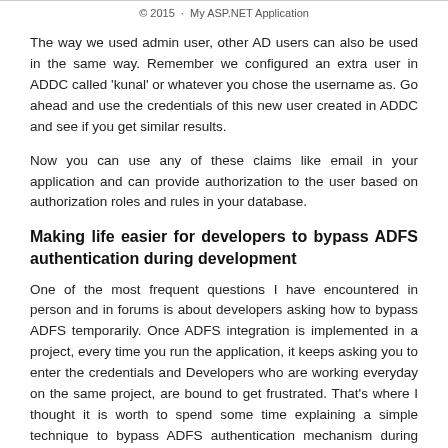© 2015 · My ASP.NET Application
The way we used admin user, other AD users can also be used in the same way. Remember we configured an extra user in ADDC called 'kunal' or whatever you chose the username as. Go ahead and use the credentials of this new user created in ADDC and see if you get similar results.
Now you can use any of these claims like email in your application and can provide authorization to the user based on authorization roles and rules in your database.
Making life easier for developers to bypass ADFS authentication during development
One of the most frequent questions I have encountered in person and in forums is about developers asking how to bypass ADFS temporarily. Once ADFS integration is implemented in a project, every time you run the application, it keeps asking you to enter the credentials and Developers who are working everyday on the same project, are bound to get frustrated. That's where I thought it is worth to spend some time explaining a simple technique to bypass ADFS authentication mechanism during development work.